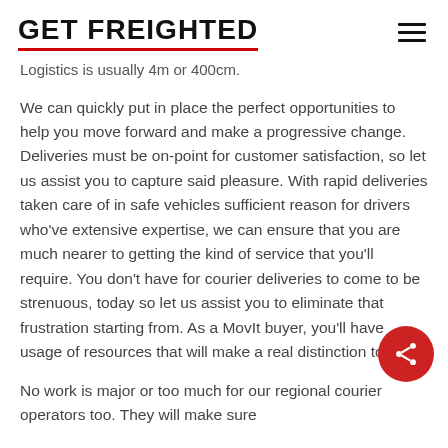GET FREIGHTED
Logistics is usually 4m or 400cm.
We can quickly put in place the perfect opportunities to help you move forward and make a progressive change. Deliveries must be on-point for customer satisfaction, so let us assist you to capture said pleasure. With rapid deliveries taken care of in safe vehicles sufficient reason for drivers who’ve extensive expertise, we can ensure that you are much nearer to getting the kind of service that you’ll require. You don’t have for courier deliveries to come to be strenuous, today so let us assist you to eliminate that frustration starting from. As a MovIt buyer, you’ll have usage of resources that will make a real distinction to the
No work is major or too much for our regional courier operators too. They will make sure